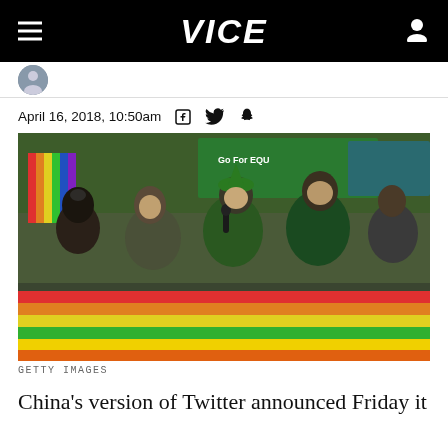VICE
April 16, 2018, 10:50am
[Figure (photo): People at a pride parade holding a large rainbow flag, wearing green clothing, one person speaking into a microphone. Signs visible in background including 'Go For EQU...']
GETTY IMAGES
China's version of Twitter announced Friday it